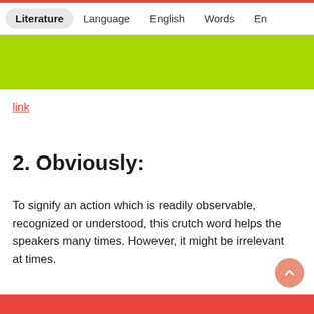Literature   Language   English   Words   En
link
2. Obviously:
To signify an action which is readily observable, recognized or understood, this crutch word helps the speakers many times. However, it might be irrelevant at times.